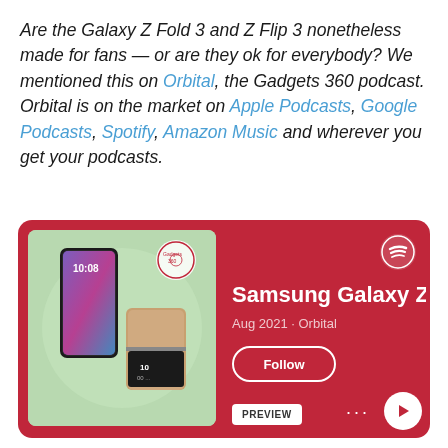Are the Galaxy Z Fold 3 and Z Flip 3 nonetheless made for fans — or are they ok for everybody? We mentioned this on Orbital, the Gadgets 360 podcast. Orbital is on the market on Apple Podcasts, Google Podcasts, Spotify, Amazon Music and wherever you get your podcasts.
[Figure (screenshot): Spotify podcast card for Samsung Galaxy Z episode from Aug 2021 on Orbital, showing two folding phones on a green background, with Follow button, Preview button, and play controls on a red background.]